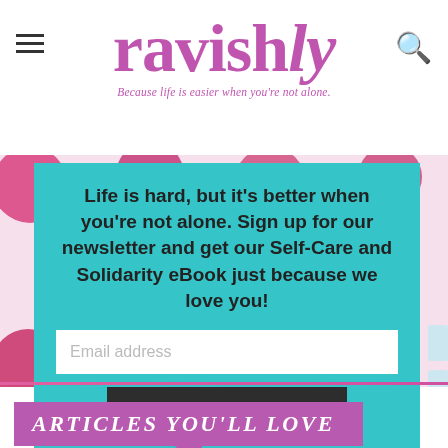ravishly — Because life is easier when you're not alone.
[Figure (screenshot): Ravishly website header with hamburger menu on left, ravishly logo in center (purple serif font with italic 'ly'), search icon on right, and tagline 'Because life is easier when you're not alone.']
Life is hard, but it's better when you're not alone. Sign up for our newsletter and get our Self-Care and Solidarity eBook just because we love you!
Email address
SUBSCRIBE
ARTICLES YOU'LL LOVE